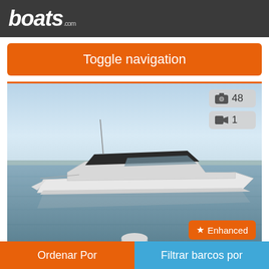boats.com
Toggle navigation
[Figure (photo): A white cruiser yacht on calm water, viewed from the side-front. The boat is a Cruisers Yachts 38 GLS on a lake with trees visible in the background. Clear sky with some haze. Photo count badge shows 48 photos and 1 video.]
Cruisers Yachts 38 GLS
Great Hampt... New York, Estados Unid...
Ordenar Por
Filtrar barcos por